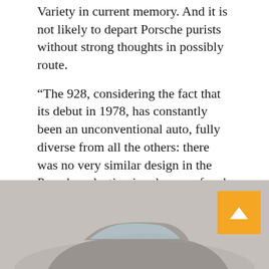Variety in current memory. And it is not likely to depart Porsche purists without strong thoughts in possibly route.
“The 928, considering the fact that its debut in 1978, has constantly been an unconventional auto, fully diverse from all the others: there was no very similar design in the Porsche selection in advance of and, following profitable the Car or truck of the Year title, it remained element of their design assortment for 17 several years, promoting a full of more than 60,000 models,” the firm claims. “Until eventually now it has hardly ever been succeeded—bit of a disgrace, wouldn’t you agree?”
[Figure (photo): Partial view of a Porsche car, grey/silver colored, photographed against a light background. A yellow/orange scroll-to-top button is overlaid in the bottom-right corner.]